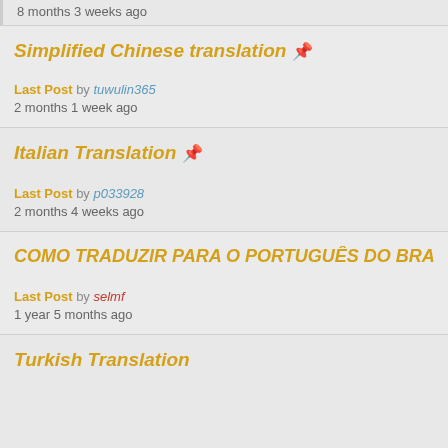8 months 3 weeks ago
Simplified Chinese translation 📎
Last Post by tuwulin365
2 months 1 week ago
Italian Translation 📎
Last Post by p033928
2 months 4 weeks ago
COMO TRADUZIR PARA O PORTUGUÊS DO BRA
Last Post by selmf
1 year 5 months ago
Turkish Translation